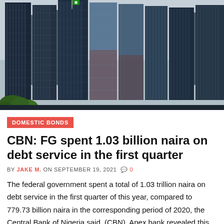[Figure (photo): Photo of a modern glass high-rise building (Central Bank of Nigeria headquarters) with tall dark-glass skyscrapers reflecting the sky and surrounding buildings, green trees visible at the bottom left.]
DOMESTIC BONDS
CBN: FG spent 1.03 billion naira on debt service in the first quarter
BY JAKE M. ON SEPTEMBER 19, 2021  0
The federal government spent a total of 1.03 trillion naira on debt service in the first quarter of this year, compared to 779.73 billion naira in the corresponding period of 2020, the Central Bank of Nigeria said. (CBN). Apex bank revealed this in its April 2021 economic report released this weekend. He attributed the...